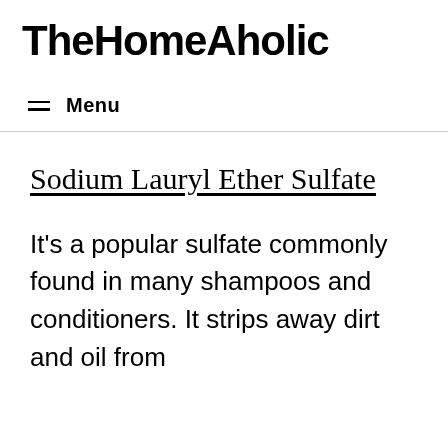TheHomeAholic
≡ Menu
Sodium Lauryl Ether Sulfate
It's a popular sulfate commonly found in many shampoos and conditioners. It strips away dirt and oil from